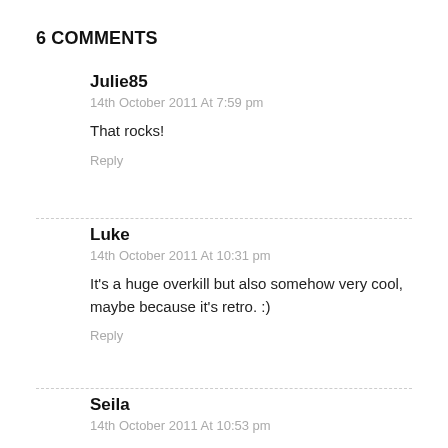6 COMMENTS
Julie85
14th October 2011 At 7:59 pm
That rocks!
Reply
Luke
14th October 2011 At 10:31 pm
It's a huge overkill but also somehow very cool, maybe because it's retro. :)
Reply
Seila
14th October 2011 At 10:53 pm
overkill…